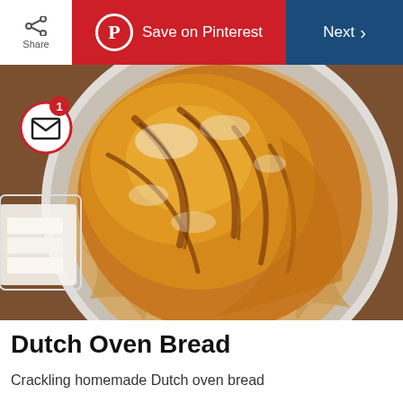Share | Save on Pinterest | Next
[Figure (photo): A golden-brown rustic Dutch oven bread loaf with a crackled scored crust, sitting in a Dutch oven lined with parchment paper. A white plate with butter sticks is visible on the left side.]
Dutch Oven Bread
Crackling homemade Dutch oven bread